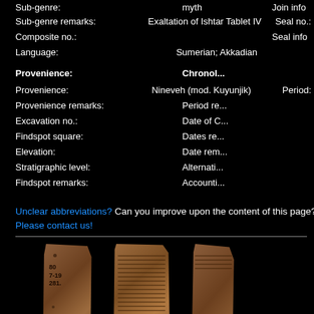Sub-genre: myth
Join info:
Sub-genre remarks: Exaltation of Ishtar Tablet IV
Seal no.:
Composite no.:
Seal info:
Language: Sumerian; Akkadian
Provenience:
Chronol...
Provenience: Nineveh (mod. Kuyunjik)
Period:
Provenience remarks:
Period re...
Excavation no.:
Date of C...
Findspot square:
Dates re...
Elevation:
Date rem...
Stratigraphic level:
Alternati...
Findspot remarks:
Accounti...
Unclear abbreviations? Can you improve upon the content of this page? Please contact us!
[Figure (photo): Three cuneiform clay tablet fragments photographed against black background. Left tablet has museum label '80 7-19 281'. Middle tablet shows dense cuneiform writing. Right tablet shows a plain fragment.]